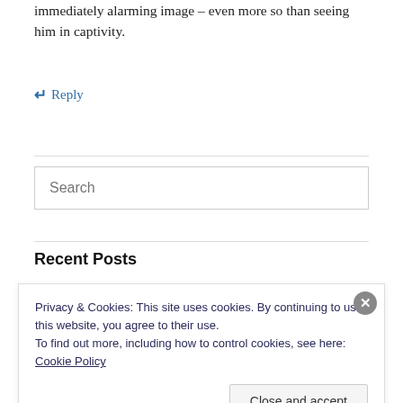immediately alarming image – even more so than seeing him in captivity.
↵ Reply
Search
Recent Posts
Privacy & Cookies: This site uses cookies. By continuing to use this website, you agree to their use.
To find out more, including how to control cookies, see here: Cookie Policy
Close and accept